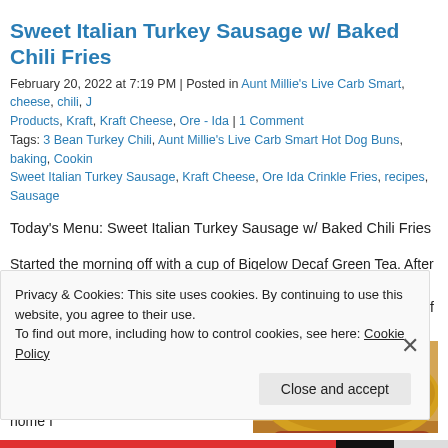Sweet Italian Turkey Sausage w/ Baked Chili Fries
February 20, 2022 at 7:19 PM | Posted in Aunt Millie's Live Carb Smart, cheese, chili, J Products, Kraft, Kraft Cheese, Ore - Ida | 1 Comment
Tags: 3 Bean Turkey Chili, Aunt Millie's Live Carb Smart Hot Dog Buns, baking, Cookin Sweet Italian Turkey Sausage, Kraft Cheese, Ore Ida Crinkle Fries, recipes, Sausage
Today's Menu: Sweet Italian Turkey Sausage w/ Baked Chili Fries
Started the morning off with a cup of Bigelow Decaf Green Tea. After my Tea I h got there about 8:10 and they were quite busy already. And on top of that they we employees, as are most businesses. Found everything I needed and headed out. On the way home I stopped by McDonald's and picked up Breakfast for Mom. Back home I
[Figure (photo): Photo of a hot dog / sausage in a bun with mustard on top, close-up food photo]
Privacy & Cookies: This site uses cookies. By continuing to use this website, you agree to their use.
To find out more, including how to control cookies, see here: Cookie Policy
Close and accept